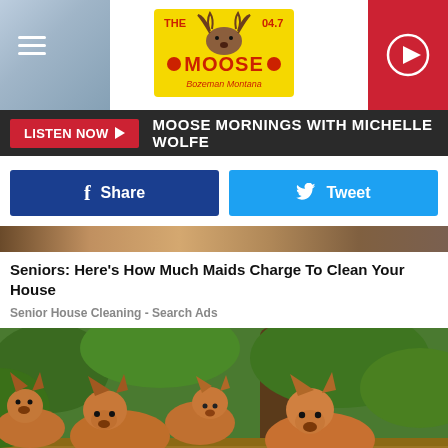[Figure (screenshot): Website header for The Moose 94.7 Bozeman Montana radio station. Hamburger menu icon on left, moose logo in center, red play button on right.]
LISTEN NOW ▶  MOOSE MORNINGS WITH MICHELLE WOLFE
[Figure (other): Facebook Share button and Twitter Tweet button side by side]
[Figure (photo): Partial top strip of a photo showing natural outdoor scene]
Seniors: Here's How Much Maids Charge To Clean Your House
Senior House Cleaning - Search Ads
[Figure (photo): Photo of four dingoes resting on the ground under trees with green foliage in the background]